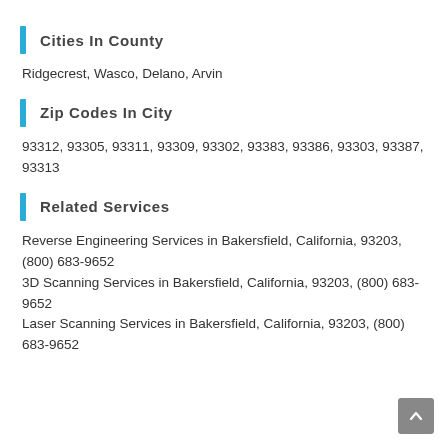Cities In County
Ridgecrest, Wasco, Delano, Arvin
Zip Codes In City
93312, 93305, 93311, 93309, 93302, 93383, 93386, 93303, 93387, 93313
Related Services
Reverse Engineering Services in Bakersfield, California, 93203, (800) 683-9652
3D Scanning Services in Bakersfield, California, 93203, (800) 683-9652
Laser Scanning Services in Bakersfield, California, 93203, (800) 683-9652